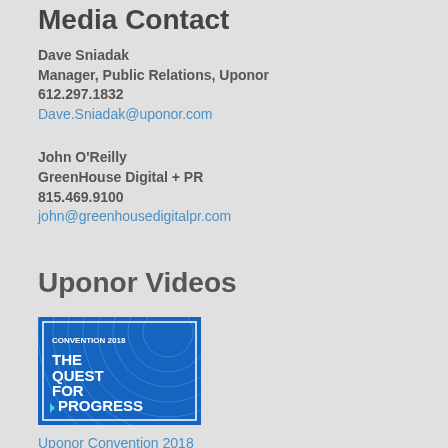Media Contact
Dave Sniadak
Manager, Public Relations, Uponor
612.297.1832
Dave.Sniadak@uponor.com
John O'Reilly
GreenHouse Digital + PR
815.469.9100
john@greenhousedigitalpr.com
Uponor Videos
[Figure (photo): Blue promotional image with text: CONVENTION 2018, THE QUEST FOR PROGRESS with decorative circular wave lines and white border]
Uponor Convention 2018
[Figure (photo): Partial image of a building exterior, cut off at bottom of page]